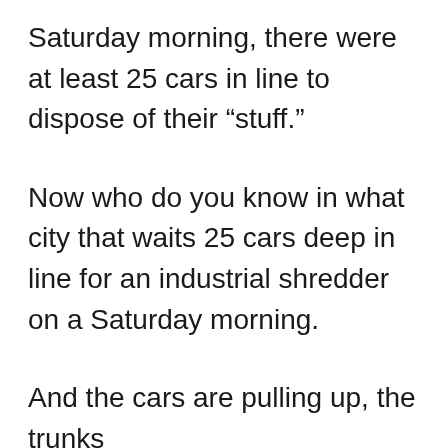Saturday morning, there were at least 25 cars in line to dispose of their “stuff.”
Now who do you know in what city that waits 25 cars deep in line for an industrial shredder on a Saturday morning.
And the cars are pulling up, the trunks